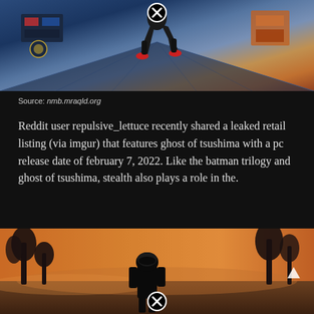[Figure (screenshot): Video game screenshot showing a character running/jumping through a futuristic sci-fi corridor with blue and metallic tones, with a close button (X in circle) overlay at top center]
Source: nmb.mraqld.org
Reddit user repulsive_lettuce recently shared a leaked retail listing (via imgur) that features ghost of tsushima with a pc release date of february 7, 2022. Like the batman trilogy and ghost of tsushima, stealth also plays a role in the.
[Figure (screenshot): Video game screenshot showing a character in armor walking through a fiery orange/brown landscape with trees, with a close button overlay at bottom center and a play/arrow button at right]